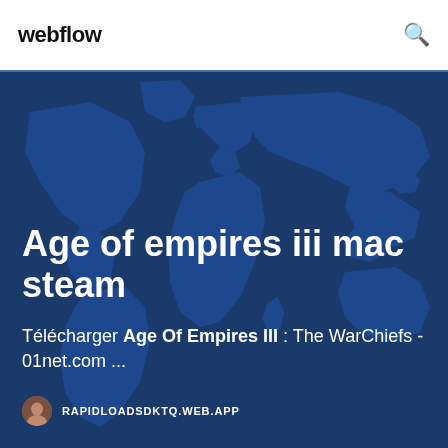webflow
Age of empires iii mac steam
Télécharger Age Of Empires III : The WarChiefs - 01net.com ...
RAPIDLOADSDKTQ.WEB.APP